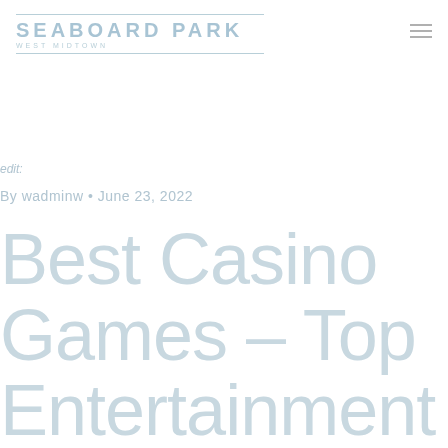[Figure (logo): Seaboard Park logo with text 'SEABOARD PARK' in large spaced caps and subtitle text below, flanked by horizontal lines]
edit
By wadminw • June 23, 2022
Best Casino Games – Top Entertainment Varieties